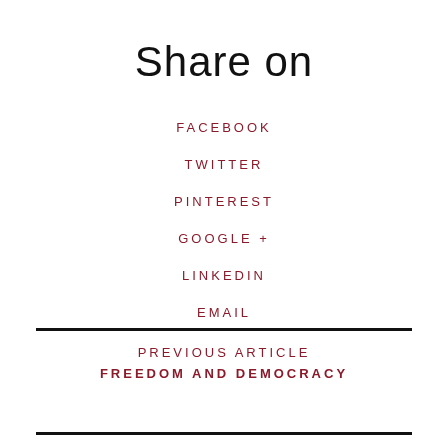Share on
FACEBOOK
TWITTER
PINTEREST
GOOGLE +
LINKEDIN
EMAIL
PREVIOUS ARTICLE
FREEDOM AND DEMOCRACY